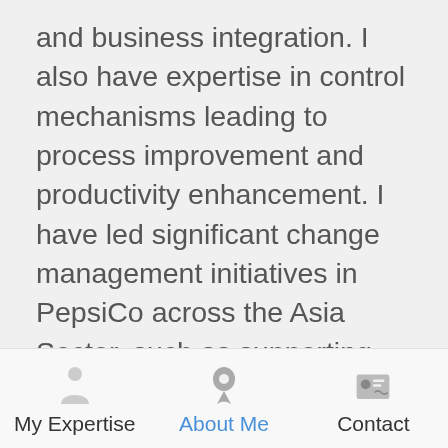and business integration. I also have expertise in control mechanisms leading to process improvement and productivity enhancement. I have led significant change management initiatives in PepsiCo across the Asia Sector, such as supporting the creation of the MENA Dairy JV, leading the Control Operating Model design, the COSO Portal design, leading change in product portfolio at Frito-Lay India as the CFO and many more. I have been recognized by way
My Expertise | About Me | Contact